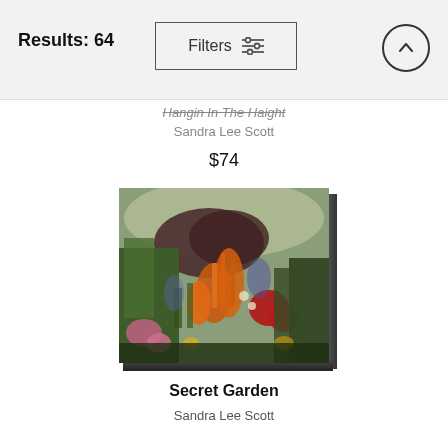Results: 64   Filters
Hangin In The Haight
Sandra Lee Scott
$74
[Figure (photo): A canvas print of a garden painting titled 'Secret Garden' showing colorful flowers including orange, red, and pink blooms with green foliage, painted in an impressionist style. The image is shown as a 3D canvas wrap with visible side edges.]
Secret Garden
Sandra Lee Scott